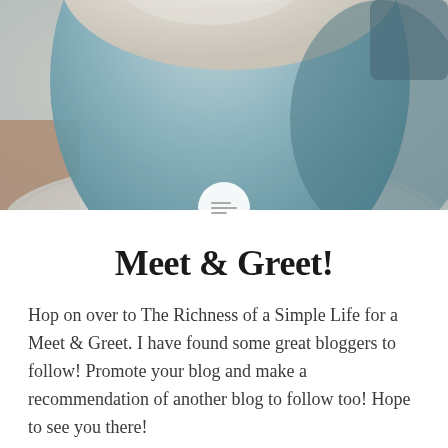[Figure (photo): Close-up photo of a coffee cup with frothy top, mostly white and teal/blue tones, with a saucer partially visible, slightly desaturated/vintage style]
Meet & Greet!
Hop on over to The Richness of a Simple Life for a Meet & Greet. I have found some great bloggers to follow! Promote your blog and make a recommendation of another blog to follow too! Hope to see you there!